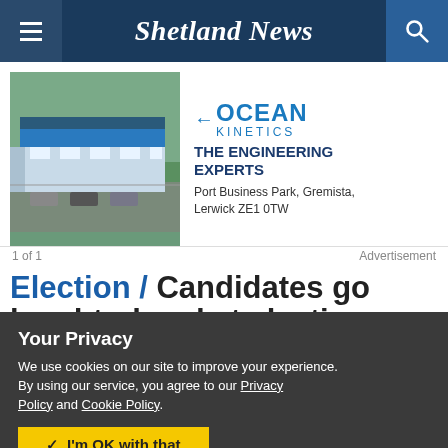Shetland News
[Figure (photo): Ocean Kinetics advertisement banner showing an aerial photo of a large industrial building and company logo with tagline 'THE ENGINEERING EXPERTS' and address 'Port Business Park, Gremista, Lerwick ZE1 0TW']
1 of 1	Advertisement
Election / Candidates go head-to-head at election hustings
Your Privacy
We use cookies on our site to improve your experience.
By using our service, you agree to our Privacy Policy and Cookie Policy.
I'm OK with that